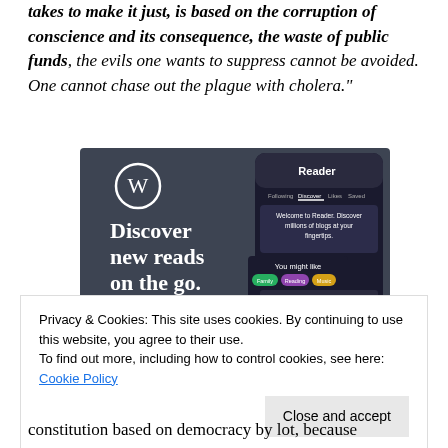takes to make it just, is based on the corruption of conscience and its consequence, the waste of public funds, the evils one wants to suppress cannot be avoided. One cannot chase out the plague with cholera."
[Figure (screenshot): WordPress Reader advertisement showing 'Discover new reads on the go.' with a phone screenshot displaying the Reader interface.]
Privacy & Cookies: This site uses cookies. By continuing to use this website, you agree to their use.
To find out more, including how to control cookies, see here: Cookie Policy
constitution based on democracy by lot, because "random